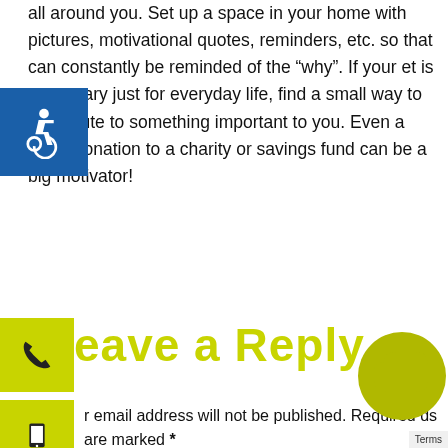all around you. Set up a space in your home with pictures, motivational quotes, reminders, etc. so that can constantly be reminded of the "why". If your et is necessary just for everyday life, find a small way to contribute to something important to you. Even a small donation to a charity or savings fund can be a big motivator!
Leave a Reply
r email address will not be published. Required ds are marked *
nment *